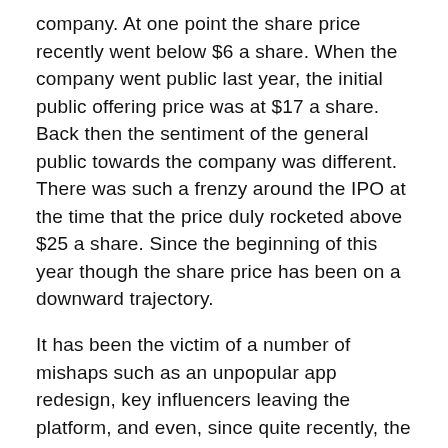company. At one point the share price recently went below $6 a share. When the company went public last year, the initial public offering price was at $17 a share. Back then the sentiment of the general public towards the company was different. There was such a frenzy around the IPO at the time that the price duly rocketed above $25 a share. Since the beginning of this year though the share price has been on a downward trajectory.
It has been the victim of a number of mishaps such as an unpopular app redesign, key influencers leaving the platform, and even, since quite recently, the number of total users slowly dropping. One of the most damaging things to happen to the company though was Instagram copying it's key 'Stories' feature.
The Facebook Group is an enormous global digital